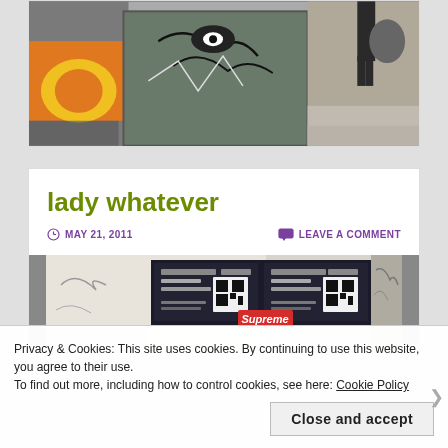[Figure (photo): Street art and graffiti on walls, showing colorful murals and a metal dumpster/utility box with black spray-painted artwork, viewed from sidewalk level]
lady whatever
MAY 21, 2011
LEAVE A COMMENT
[Figure (photo): Street wall covered with posters/flyers including QR codes and a red Supreme sticker, with graffiti visible on the right side]
Privacy & Cookies: This site uses cookies. By continuing to use this website, you agree to their use.
To find out more, including how to control cookies, see here: Cookie Policy